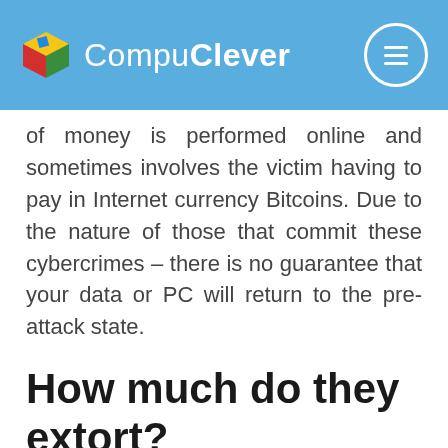CompuClever
of money is performed online and sometimes involves the victim having to pay in Internet currency Bitcoins. Due to the nature of those that commit these cybercrimes – there is no guarantee that your data or PC will return to the pre-attack state.
How much do they extort?
Symantec gained access to a malware server in 2012. This provided them first hand insight of the ransoms that were